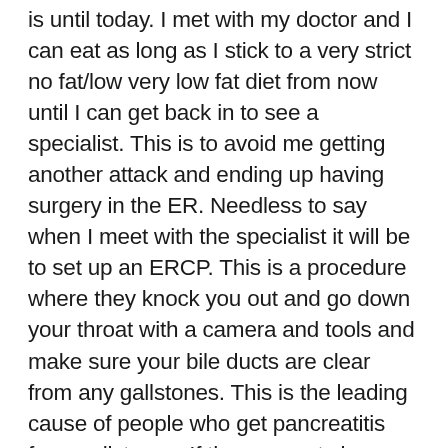is until today. I met with my doctor and I can eat as long as I stick to a very strict no fat/low very low fat diet from now until I can get back in to see a specialist. This is to avoid me getting another attack and ending up having surgery in the ER. Needless to say when I meet with the specialist it will be to set up an ERCP. This is a procedure where they knock you out and go down your throat with a camera and tools and make sure your bile ducts are clear from any gallstones. This is the leading cause of people who get pancreatitis from gallstones. If they are not clear they will clear them at that time. Once I recover from that then I am back to the operating table to have my gallbladder removed. I really am not leaving much for the zombies to consume anymore. I mean no large intestine, no appendix and now soon to be no gallbladder. Guess they will just have to have whats left of my brains. And that isn't too well these days either.